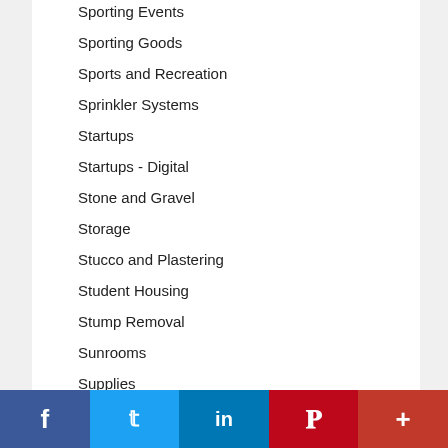Sporting Events
Sporting Goods
Sports and Recreation
Sprinkler Systems
Startups
Startups - Digital
Stone and Gravel
Storage
Stucco and Plastering
Student Housing
Stump Removal
Sunrooms
Supplies
Tailors and Seamstresses